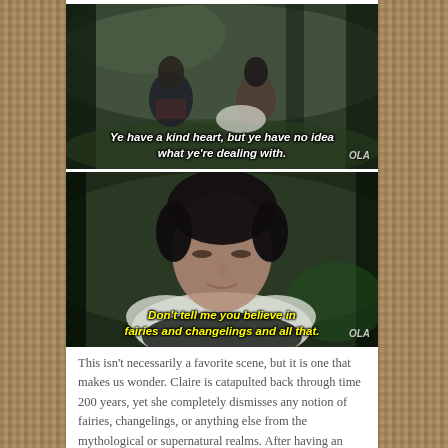[Figure (screenshot): TV show screenshot showing two people in a forest. Subtitle reads: 'Ye have a kind heart, but ye have no idea what ye're dealing with.' Watermark: OLA]
[Figure (screenshot): TV show screenshot showing a woman with fur collar in a forest. Subtitle reads: 'Don't tell me you believe in fairies and changelings and all that.' Watermark: OLA]
This isn't necessarily a favorite scene, but it is one that makes us wonder. Claire is catapulted back through time 200 years, yet she completely dismisses any notion of fairies, changelings, or anything else from the mythological or supernatural realms. After having an experience that defies explanation, one would think she would be little more open minded.